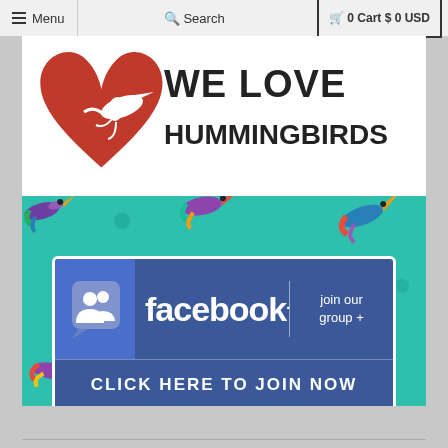≡ Menu  🔍 Search  🛒 0 Cart $ 0 USD
[Figure (logo): We Love Hummingbirds logo with a red heart containing a white hummingbird silhouette, and bold block text 'WE LOVE HUMMINGBIRDS']
[Figure (infographic): Banner with colorful illustrated hummingbirds on teal background, containing a Facebook group join banner that says 'facebook join our group + CLICK HERE TO JOIN NOW']